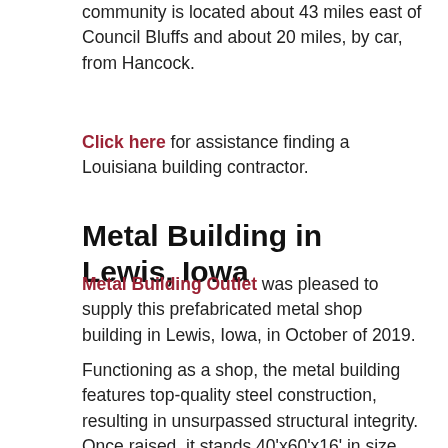community is located about 43 miles east of Council Bluffs and about 20 miles, by car, from Hancock.
Click here for assistance finding a Louisiana building contractor.
Metal Building in Lewis, Iowa
Metal Building Outlet was pleased to supply this prefabricated metal shop building in Lewis, Iowa, in October of 2019.
Functioning as a shop, the metal building features top-quality steel construction, resulting in unsurpassed structural integrity. Once raised, it stands 40'x60'x16' in size, boasting high overhead clearance and a clear-span design that clears up as much floor space as possible by eliminating unnecessary obstructions.